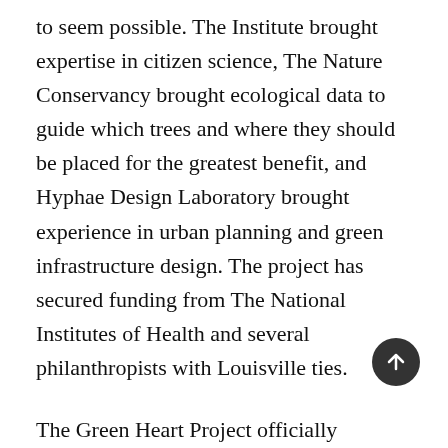to seem possible. The Institute brought expertise in citizen science, The Nature Conservancy brought ecological data to guide which trees and where they should be placed for the greatest benefit, and Hyphae Design Laboratory brought experience in urban planning and green infrastructure design. The project has secured funding from The National Institutes of Health and several philanthropists with Louisville ties.
The Green Heart Project officially launched with a community workshop in late October 2017, timed to the start of baseline data collection. Temperatures, particulate matter levels, volatile organic compo… in the air will all be tracked by a network of more than 50…